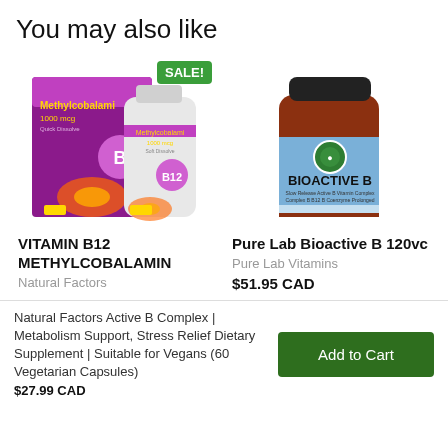You may also like
[Figure (photo): Vitamin B12 Methylcobalamin product showing a purple box and white supplement bottle with a SALE! badge in green]
[Figure (photo): Pure Lab Bioactive B 120vc supplement bottle with brown/amber glass and blue label]
VITAMIN B12 METHYLCOBALAMIN
Natural Factors
Pure Lab Bioactive B 120vc
Pure Lab Vitamins
$51.95 CAD
Natural Factors Active B Complex | Metabolism Support, Stress Relief Dietary Supplement | Suitable for Vegans (60 Vegetarian Capsules)
$27.99 CAD
Add to Cart